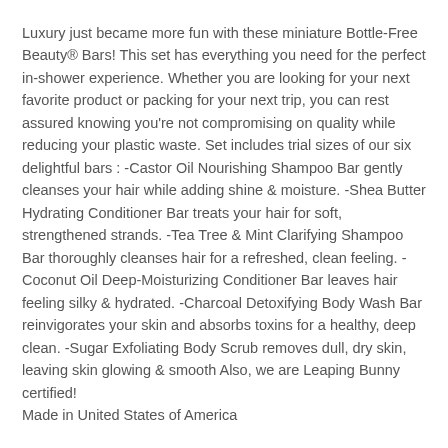Luxury just became more fun with these miniature Bottle-Free Beauty® Bars! This set has everything you need for the perfect in-shower experience. Whether you are looking for your next favorite product or packing for your next trip, you can rest assured knowing you're not compromising on quality while reducing your plastic waste. Set includes trial sizes of our six delightful bars : -Castor Oil Nourishing Shampoo Bar gently cleanses your hair while adding shine & moisture. -Shea Butter Hydrating Conditioner Bar treats your hair for soft, strengthened strands. -Tea Tree & Mint Clarifying Shampoo Bar thoroughly cleanses hair for a refreshed, clean feeling. -Coconut Oil Deep-Moisturizing Conditioner Bar leaves hair feeling silky & hydrated. -Charcoal Detoxifying Body Wash Bar reinvigorates your skin and absorbs toxins for a healthy, deep clean. -Sugar Exfoliating Body Scrub removes dull, dry skin, leaving skin glowing & smooth Also, we are Leaping Bunny certified!
Made in United States of America
Quantity: